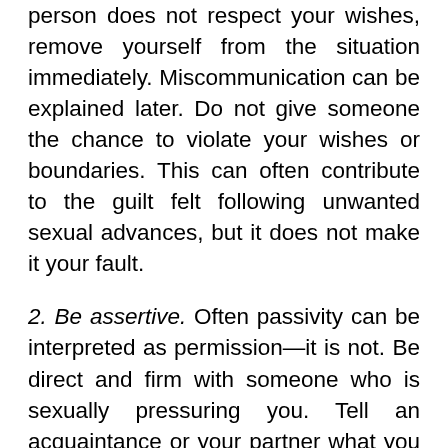person does not respect your wishes, remove yourself from the situation immediately. Miscommunication can be explained later. Do not give someone the chance to violate your wishes or boundaries. This can often contribute to the guilt felt following unwanted sexual advances, but it does not make it your fault.
2. Be assertive. Often passivity can be interpreted as permission—it is not. Be direct and firm with someone who is sexually pressuring you. Tell an acquaintance or your partner what you want—or don't want—and stick with your decision. Regardless, there must always be active consent on both sides. Consent to one thing does not imply another.